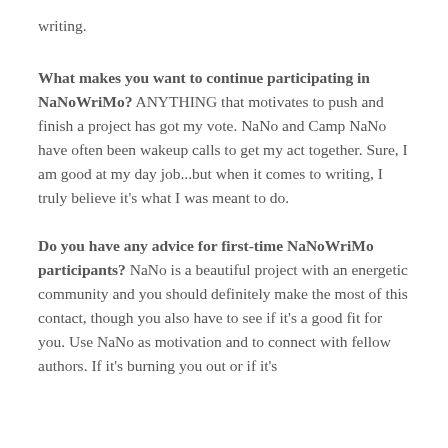writing.
What makes you want to continue participating in NaNoWriMo? ANYTHING that motivates to push and finish a project has got my vote. NaNo and Camp NaNo have often been wakeup calls to get my act together. Sure, I am good at my day job...but when it comes to writing, I truly believe it's what I was meant to do.
Do you have any advice for first-time NaNoWriMo participants? NaNo is a beautiful project with an energetic community and you should definitely make the most of this contact, though you also have to see if it's a good fit for you. Use NaNo as motivation and to connect with fellow authors. If it's burning you out or if it's